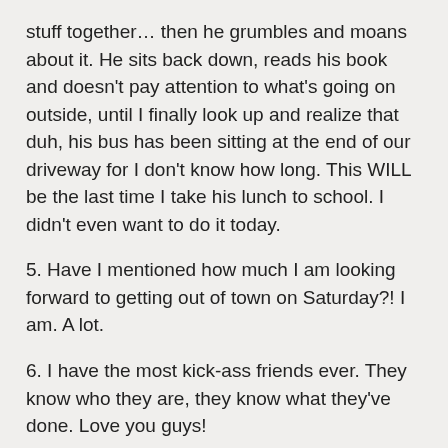stuff together… then he grumbles and moans about it. He sits back down, reads his book and doesn't pay attention to what's going on outside, until I finally look up and realize that duh, his bus has been sitting at the end of our driveway for I don't know how long. This WILL be the last time I take his lunch to school. I didn't even want to do it today.
5. Have I mentioned how much I am looking forward to getting out of town on Saturday?! I am. A lot.
6. I have the most kick-ass friends ever. They know who they are, they know what they've done. Love you guys!
7. Sometimes I get very mopey about stuff. I admit, I have been this week. But, you know – you get to breakdown, pick yourself up, dust off and move on. As Jon Secada oh-so-wisely said (oh, google him if you don't remember